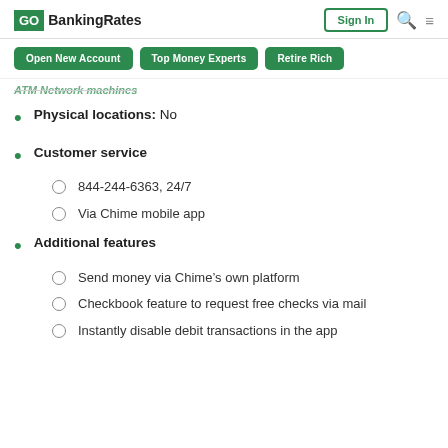GO BankingRates | Sign In
Open New Account | Top Money Experts | Retire Rich
ATM Network machines
Physical locations: No
Customer service
844-244-6363, 24/7
Via Chime mobile app
Additional features
Send money via Chime's own platform
Checkbook feature to request free checks via mail
Instantly disable debit transactions in the app